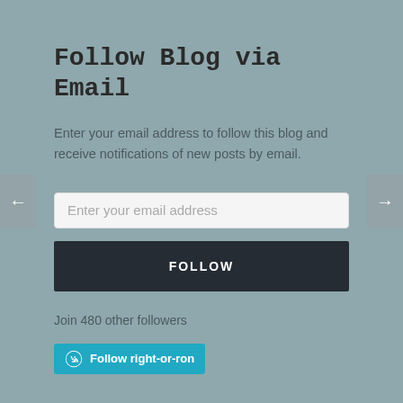Follow Blog via Email
Enter your email address to follow this blog and receive notifications of new posts by email.
[Figure (screenshot): Email input field with placeholder text 'Enter your email address']
[Figure (screenshot): Dark button with text 'FOLLOW']
Join 480 other followers
[Figure (screenshot): WordPress follow button with text 'Follow right-or-ron']
Follow Blog via Email